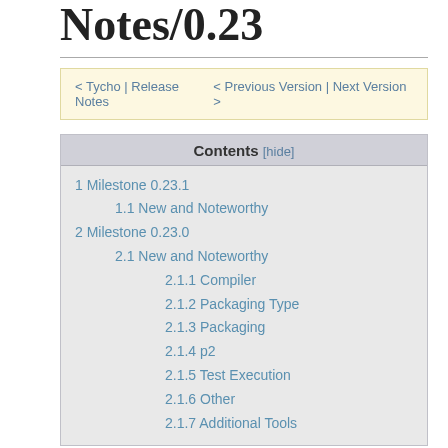Notes/0.23
< Tycho | Release Notes    < Previous Version | Next Version >
| Contents [hide] |
| --- |
| 1 Milestone 0.23.1 |
| 1.1 New and Noteworthy |
| 2 Milestone 0.23.0 |
| 2.1 New and Noteworthy |
| 2.1.1 Compiler |
| 2.1.2 Packaging Type |
| 2.1.3 Packaging |
| 2.1.4 p2 |
| 2.1.5 Test Execution |
| 2.1.6 Other |
| 2.1.7 Additional Tools |
Milestone 0.23.1
New and Noteworthy